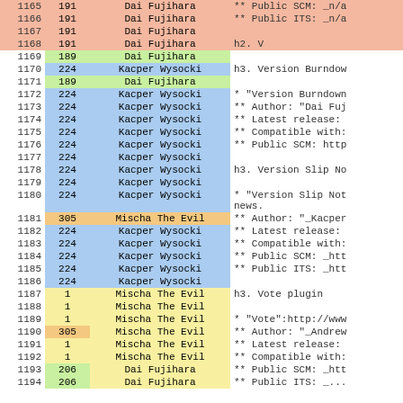| line | id | author | content |
| --- | --- | --- | --- |
| 1165 | 191 | Dai Fujihara | ** Public SCM: _n/a |
| 1166 | 191 | Dai Fujihara | ** Public ITS: _n/a |
| 1167 | 191 | Dai Fujihara |  |
| 1168 | 191 | Dai Fujihara | h2. V |
| 1169 | 189 | Dai Fujihara |  |
| 1170 | 224 | Kacper Wysocki | h3. Version Burndow |
| 1171 | 189 | Dai Fujihara |  |
| 1172 | 224 | Kacper Wysocki | * "Version Burndown |
| 1173 | 224 | Kacper Wysocki | ** Author: "Dai Fuj |
| 1174 | 224 | Kacper Wysocki | ** Latest release: |
| 1175 | 224 | Kacper Wysocki | ** Compatible with: |
| 1176 | 224 | Kacper Wysocki | ** Public SCM: http |
| 1177 | 224 | Kacper Wysocki |  |
| 1178 | 224 | Kacper Wysocki | h3. Version Slip No |
| 1179 | 224 | Kacper Wysocki |  |
| 1180 | 224 | Kacper Wysocki | * "Version Slip Not
news. |
| 1181 | 305 | Mischa The Evil | ** Author: "_Kacper |
| 1182 | 224 | Kacper Wysocki | ** Latest release: |
| 1183 | 224 | Kacper Wysocki | ** Compatible with: |
| 1184 | 224 | Kacper Wysocki | ** Public SCM: _htt |
| 1185 | 224 | Kacper Wysocki | ** Public ITS: _htt |
| 1186 | 224 | Kacper Wysocki |  |
| 1187 | 1 | Mischa The Evil | h3. Vote plugin |
| 1188 | 1 | Mischa The Evil |  |
| 1189 | 1 | Mischa The Evil | * "Vote":http://www |
| 1190 | 305 | Mischa The Evil | ** Author: "_Andrew |
| 1191 | 1 | Mischa The Evil | ** Latest release: |
| 1192 | 1 | Mischa The Evil | ** Compatible with: |
| 1193 | 206 | Dai Fujihara | ** Public SCM: _htt |
| 1194 | 206 | Dai Fujihara | ** Public ITS: _... |